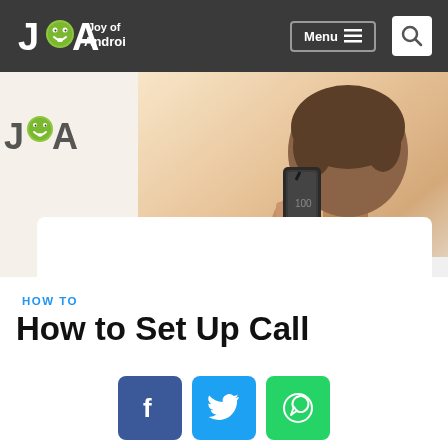Joy of Android — Menu | Search
[Figure (photo): Person holding a smartphone to their ear, viewed from behind, wearing a white shirt. JOA watermark logo visible on the left.]
HOW TO
How to Set Up Call
[Figure (infographic): Social share buttons: Facebook (blue), Twitter (light blue), WhatsApp (green)]